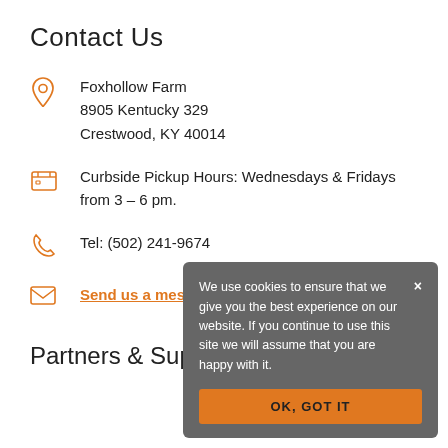Contact Us
Foxhollow Farm
8905 Kentucky 329
Crestwood, KY 40014
Curbside Pickup Hours: Wednesdays & Fridays from 3 – 6 pm.
Tel: (502) 241-9674
Send us a message
Partners & Support
We use cookies to ensure that we give you the best experience on our website. If you continue to use this site we will assume that you are happy with it.
OK, GOT IT